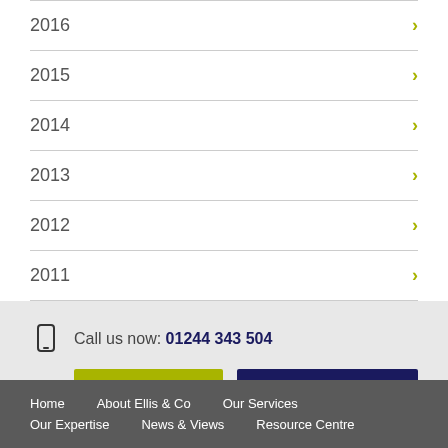2016
2015
2014
2013
2012
2011
Call us now: 01244 343 504
Client portal
Send an enquiry
Home   About Ellis & Co   Our Services   Our Expertise   News & Views   Resource Centre